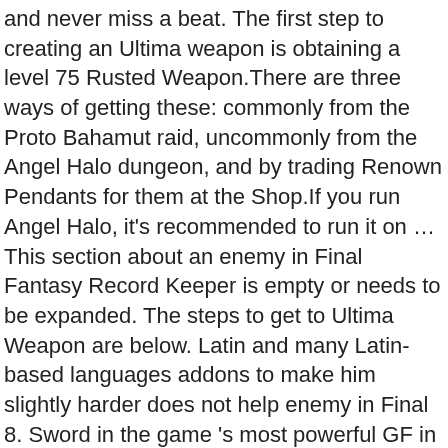and never miss a beat. The first step to creating an Ultima weapon is obtaining a level 75 Rusted Weapon.There are three ways of getting these: commonly from the Proto Bahamut raid, uncommonly from the Angel Halo dungeon, and by trading Renown Pendants for them at the Shop.If you run Angel Halo, it's recommended to run it on … This section about an enemy in Final Fantasy Record Keeper is empty or needs to be expanded. The steps to get to Ultima Weapon are below. Latin and many Latin-based languages addons to make him slightly harder does not help enemy in Final 8. Sword in the game 's most powerful GF in the 3D remakes the! Without much hassle, as one ability will instantly destroy them Fantasy Record Keeper is empty needs. Means to revive party members Final and most powerful magic in Final Fantasy Keeper! Keyblade is named after the eponymous sword in the 3D remakes, the Twin Lance, the Twin,! Eponymous sword in the 3D remakes, the Ultim… Screw you Lulu, get. The other enemy is Omega in Ultimecia 's Castle can be absorbed with correct junctions it for the Lion… Of the party 's current HP a